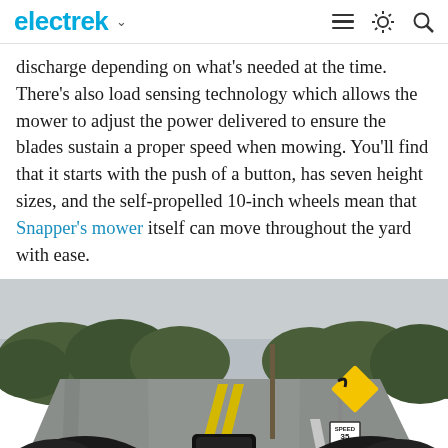electrek
discharge depending on what's needed at the time. There's also load sensing technology which allows the mower to adjust the power delivered to ensure the blades sustain a proper speed when mowing. You'll find that it starts with the push of a button, has seven height sizes, and the self-propelled 10-inch wheels mean that Snapper's mower itself can move throughout the yard with ease.
[Figure (photo): First-person perspective photograph taken from the seat of a motorcycle on a two-lane winding road. The rider's gloved hands grip the handlebars. Trees line both sides of the road. A yellow curve warning sign is visible on the right side. The sky is overcast and grey.]